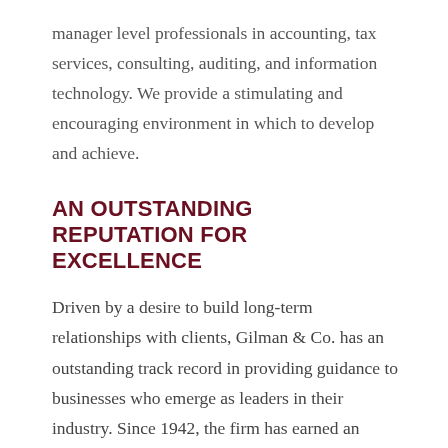manager level professionals in accounting, tax services, consulting, auditing, and information technology. We provide a stimulating and encouraging environment in which to develop and achieve.
AN OUTSTANDING REPUTATION FOR EXCELLENCE
Driven by a desire to build long-term relationships with clients, Gilman & Co. has an outstanding track record in providing guidance to businesses who emerge as leaders in their industry. Since 1942, the firm has earned an enviable reputation for integrity, unsurpassed personal service, versatility, coupled with an uncommon regard for our clients' growth, profitability, and success.